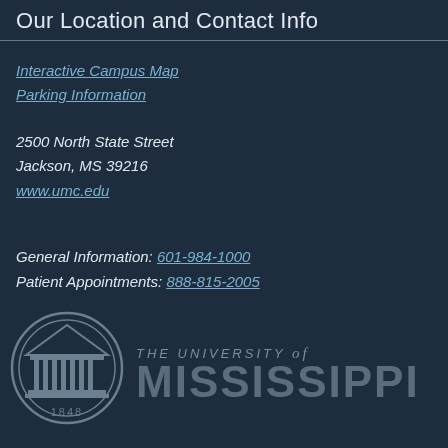Our Location and Contact Info
Interactive Campus Map
Parking Information
2500 North State Street
Jackson, MS 39216
www.umc.edu
General Information: 601-984-1000
Patient Appointments: 888-815-2005
[Figure (logo): The University of Mississippi seal (1848) and wordmark logo in grey tones on dark navy background]